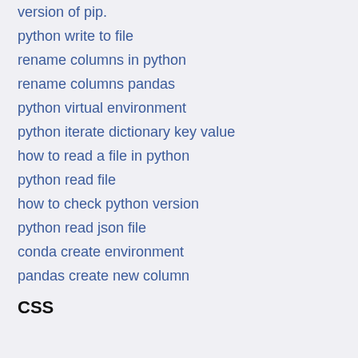version of pip.
python write to file
rename columns in python
rename columns pandas
python virtual environment
python iterate dictionary key value
how to read a file in python
python read file
how to check python version
python read json file
conda create environment
pandas create new column
CSS